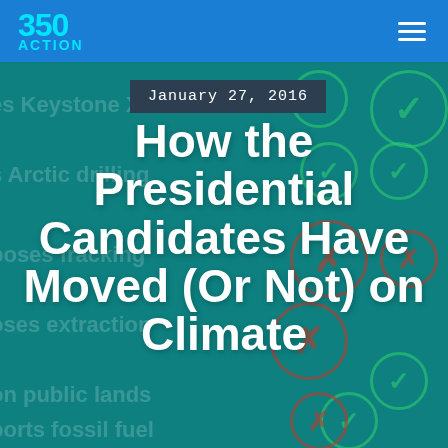350 ACTION
January 27, 2016
How the Presidential Candidates Have Moved (Or Not) on Climate